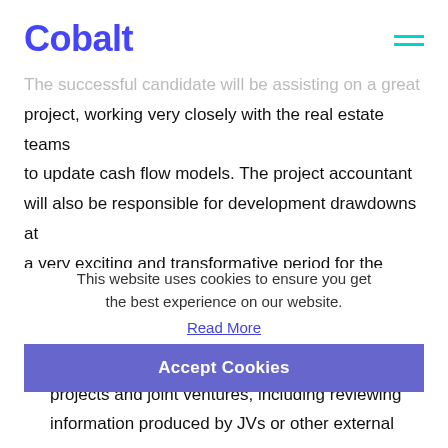Cobalt
The successful candidate will be assisting on a great project, working very closely with the real estate teams to update cash flow models. The project accountant will also be responsible for development drawdowns at a very exciting and transformative period for the business!
Principal Responsibilities
This website uses cookies to ensure you get the best experience on our website.
Read More
Accept Cookies
Accounting and regular reporting for a range of projects and joint ventures, including reviewing information produced by JVs or other external